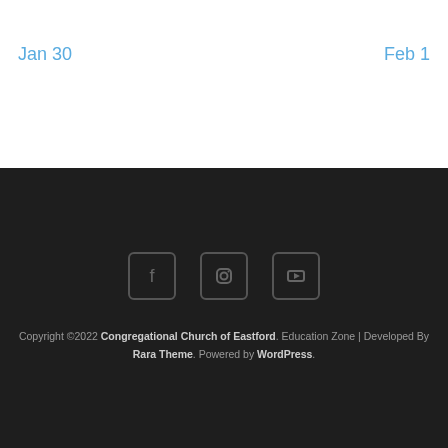Jan 30
Feb 1
[Figure (other): Social media icons: Facebook, Instagram, YouTube]
Copyright ©2022 Congregational Church of Eastford. Education Zone | Developed By Rara Theme. Powered by WordPress.